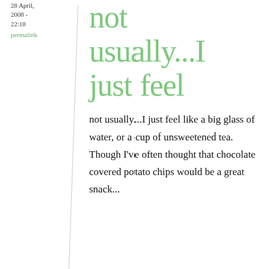28 April, 2008 - 22:18
permalink
not usually...I just feel
not usually...I just feel like a big glass of water, or a cup of unsweetened tea. Though I've often thought that chocolate covered potato chips would be a great snack...